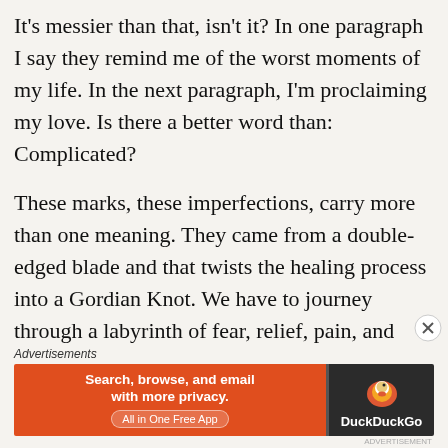It's messier than that, isn't it? In one paragraph I say they remind me of the worst moments of my life. In the next paragraph, I'm proclaiming my love. Is there a better word than: Complicated?
These marks, these imperfections, carry more than one meaning. They came from a double-edged blade and that twists the healing process into a Gordian Knot. We have to journey through a labyrinth of fear, relief, pain, and healing. We have to find a way through the grief of losing ourselves,
[Figure (other): DuckDuckGo advertisement banner with orange left panel saying 'Search, browse, and email with more privacy. All in One Free App' and dark right panel with DuckDuckGo duck logo and brand name]